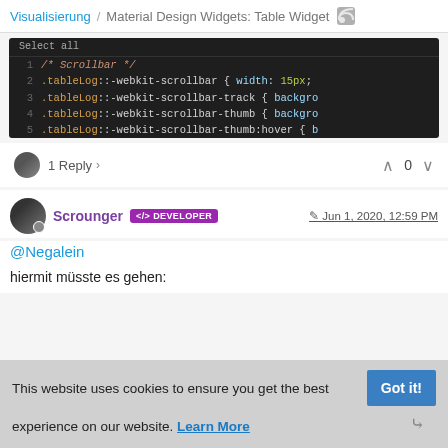Visualisierung / Material Design Widgets: Table Widget
[Figure (screenshot): Code editor screenshot showing CSS scrollbar styles. Lines 1-5: /* Scrollbar */, .tableLog::-webkit-scrollbar { width: 15px;, .tableLog::-webkit-scrollbar-track { backgro, .tableLog::-webkit-scrollbar-thumb { backgro, .tableLog::-webkit-scrollbar-thumb:hover { b]
1 Reply > ^ 0 v
Scrounger <> DEVELOPER | Jun 1, 2020, 12:59 PM
@Negalein
hiermit müsste es gehen:
This website uses cookies to ensure you get the best experience on our website. Learn More